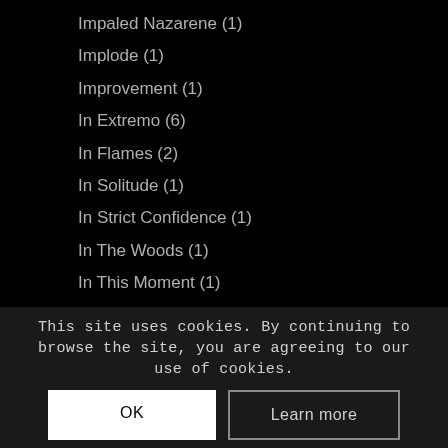Impaled Nazarene (1)
Implode (1)
Improvement (1)
In Extremo (6)
In Flames (2)
In Solitude (1)
In Strict Confidence (1)
In The Woods (1)
In This Moment (1)
Incantation (1)
Incarceration (2)
Incertain (2)
Incite (1)
Infected Rain (...)
Ingested (1)
Innuendo (1)
This site uses cookies. By continuing to browse the site, you are agreeing to our use of cookies.
OK
Learn more